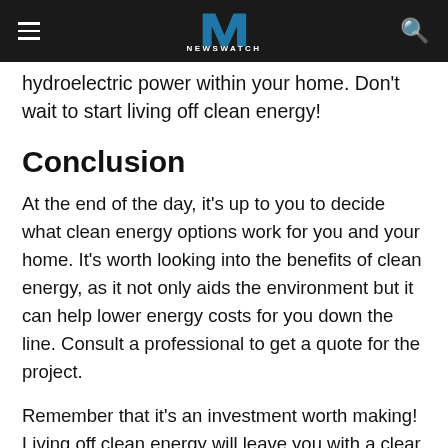NEWSWATCH
hydroelectric power within your home. Don't wait to start living off clean energy!
Conclusion
At the end of the day, it's up to you to decide what clean energy options work for you and your home. It's worth looking into the benefits of clean energy, as it not only aids the environment but it can help lower energy costs for you down the line. Consult a professional to get a quote for the project.
Remember that it's an investment worth making! Living off clean energy will leave you with a clear